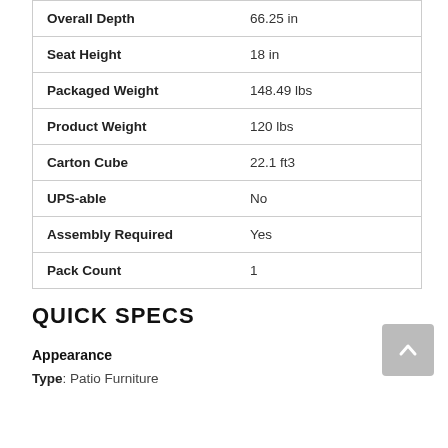| Attribute | Value |
| --- | --- |
| Overall Depth | 66.25 in |
| Seat Height | 18 in |
| Packaged Weight | 148.49 lbs |
| Product Weight | 120 lbs |
| Carton Cube | 22.1 ft3 |
| UPS-able | No |
| Assembly Required | Yes |
| Pack Count | 1 |
QUICK SPECS
Appearance
Type: Patio Furniture